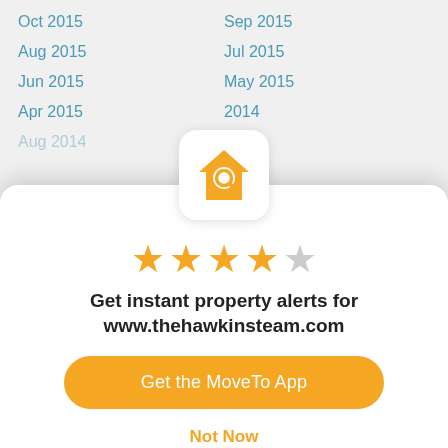Oct 2015   Sep 2015
Aug 2015   Jul 2015
Jun 2015   May 2015
Apr 2015   2014
[Figure (logo): House with magnifying glass icon, orange color on white rounded square background]
[Figure (infographic): 4 out of 5 stars rating, orange filled stars with one grey star]
Get instant property alerts for www.thehawkinsteam.com
Get the MoveTo App
Not Now